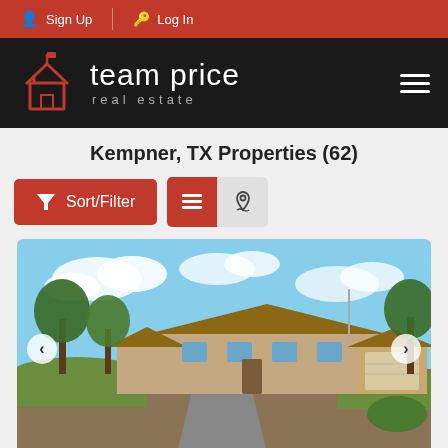Sign Up | Log In
[Figure (logo): Team Price Real Estate logo — house icon outline in red-orange on black background with text 'team price real estate']
Kempner, TX Properties (62)
Sort/Filter | List view | Map view toggle buttons
[Figure (photo): Exterior photo of a single-story brick ranch-style home with large trees, a curved driveway, and a detached garage. Navigation arrows on left and right sides of the image.]
$...